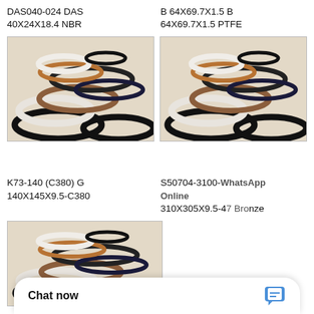DAS040-024 DAS 40X24X18.4 NBR
B 64X69.7X1.5 B 64X69.7X1.5 PTFE
[Figure (photo): Photo of a set of hydraulic seal rings of various colors and sizes including black, brown, and white O-rings and seals]
[Figure (photo): Photo of a set of hydraulic seal rings of various colors and sizes including black, brown, and white O-rings and seals, with WhatsApp Online badge overlay]
K73-140 (C380) G 140X145X9.5-C380
S50704-3100-A475 310X305X9.5-47 Bronze
[Figure (photo): Photo of a set of hydraulic seal rings of various colors and sizes including black, brown, and white O-rings and seals]
Chat now